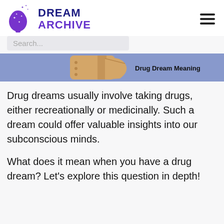DREAM ARCHIVE
Search...
[Figure (illustration): Banner image showing a drug/pill illustration with text 'Drug Dream Meaning' on a purple background]
Drug dreams usually involve taking drugs, either recreationally or medicinally. Such a dream could offer valuable insights into our subconscious minds.
What does it mean when you have a drug dream? Let's explore this question in depth!